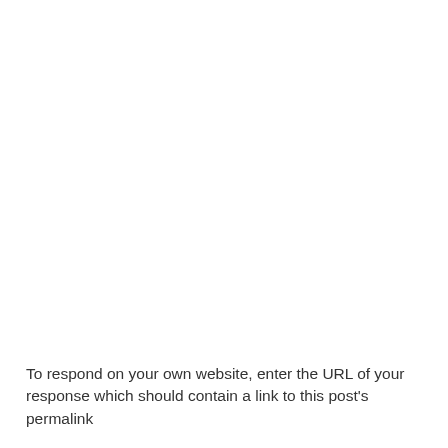To respond on your own website, enter the URL of your response which should contain a link to this post's permalink